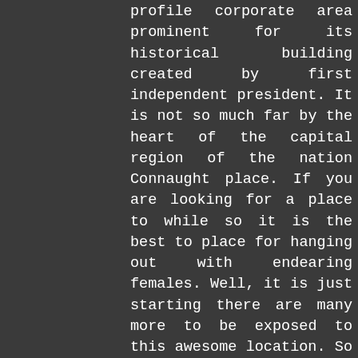profile corporate area prominent for its historical building created by first independent president. It is not so much far by the heart of the capital region of the nation Connaught place. If you are looking for a place to while so it is the best to place for hanging out with endearing females. Well, it is just starting there are many more to be exposed to this awesome location. So get set go for an assault on mature independent escorts in Rajendra place.
Its has been too much to have fun with young girls now you should switch your taste to mature ladies. If you are an experienced bird in this sky of intimacy so undoubtedly you would have a desire of housewives. Its not strange to have this fantasy because these married women have a praiseworthy body shape. If you also used to had a dream of having a